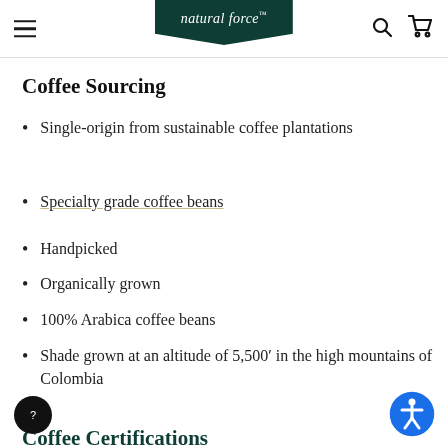natural force™ — navigation header with hamburger menu, logo, search and cart icons
Coffee Sourcing
Single-origin from sustainable coffee plantations
Specialty grade coffee beans
Handpicked
Organically grown
100% Arabica coffee beans
Shade grown at an altitude of 5,500′ in the high mountains of Colombia
Coffee Certifications